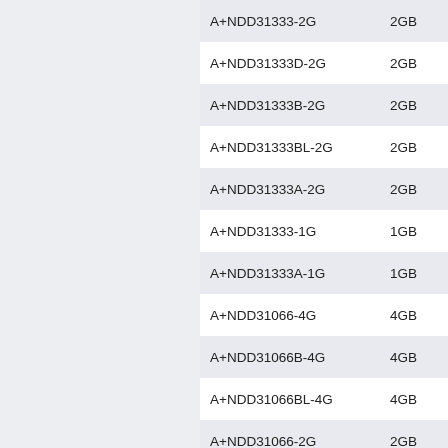| Part Number | Size | Type |
| --- | --- | --- |
| A+NDD31333-2G | 2GB | DDR SOD |
| A+NDD31333D-2G | 2GB | DDR SOD |
| A+NDD31333B-2G | 2GB | DDR SOD |
| A+NDD31333BL-2G | 2GB | DDR SOD |
| A+NDD31333A-2G | 2GB | DDR SOD |
| A+NDD31333-1G | 1GB | DDR SOD |
| A+NDD31333A-1G | 1GB | DDR SOD |
| A+NDD31066-4G | 4GB | DDR SOD |
| A+NDD31066B-4G | 4GB | DDR SOD |
| A+NDD31066BL-4G | 4GB | DDR SOD |
| A+NDD31066-2G | 2GB | DDR SOD |
| A+NDD31066D-2G | 2GB | DDR SOD |